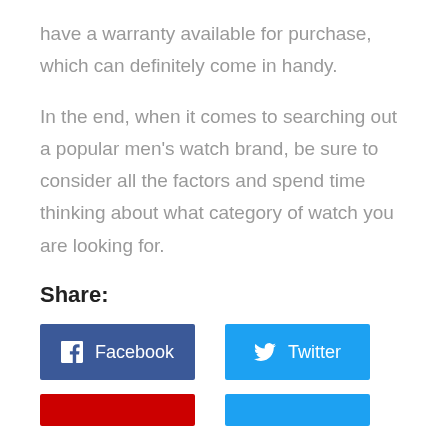have a warranty available for purchase, which can definitely come in handy.
In the end, when it comes to searching out a popular men's watch brand, be sure to consider all the factors and spend time thinking about what category of watch you are looking for.
Share:
[Figure (other): Facebook and Twitter share buttons, and partial red and blue buttons below]